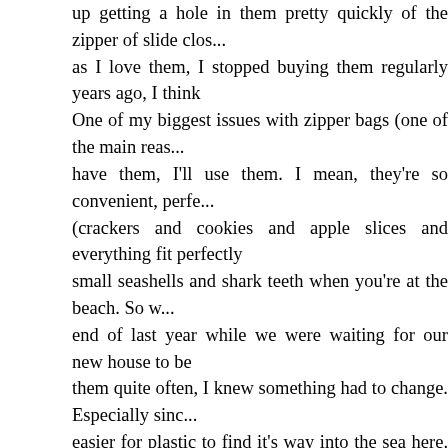up getting a hole in them pretty quickly of the zipper of slide clos... as I love them, I stopped buying them regularly years ago, I think One of my biggest issues with zipper bags (one of the main reas... have them, I'll use them. I mean, they're so convenient, perfe... (crackers and cookies and apple slices and everything fit perfectly small seashells and shark teeth when you're at the beach. So w... end of last year while we were waiting for our new house to be them quite often, I knew something had to change. Especially sinc... easier for plastic to find it's way into the sea here. So in came rescue! I first heard of them a few years ago when they were purchased our first small Stasher snack bag at World Market and Stasher was kind enough to send some our way not too long ago you have one Stasher bag you'll realize how much you love them about them! I love that they are made from platinum silicone which used for years and years (instead of a day or less), they have ab... life (which will most likely be a looong time from now) you can act... it so it stays out of the landfill and ocean (they'll even send you a platinum silicone? It's a type of silicone made from sand (silica fillers, polymers, or by-products). Stasher bags are completely m... grade standards), and can be safely subjected to heat without th... change can make a huge impact and Stasher definitely does. HERE!